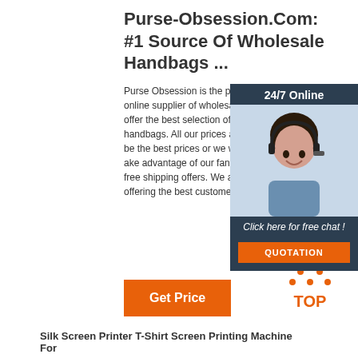Purse-Obsession.Com: #1 Source Of Wholesale Handbags ...
Purse Obsession is the premier leading online supplier of wholesale handbags. We offer the best selection of high quality handbags. All our prices are guaranteed to be the best prices or we will pricematch. Take advantage of our fantastic discount and free shipping offers. We are committed to offering the best customer service.
[Figure (photo): Chat widget showing a woman with headset and '24/7 Online' header, 'Click here for free chat!' text, and an orange QUOTATION button]
Get Price
[Figure (logo): Orange TOP logo with dotted triangle above the text]
Silk Screen Printer T-Shirt Screen Printing Machine For